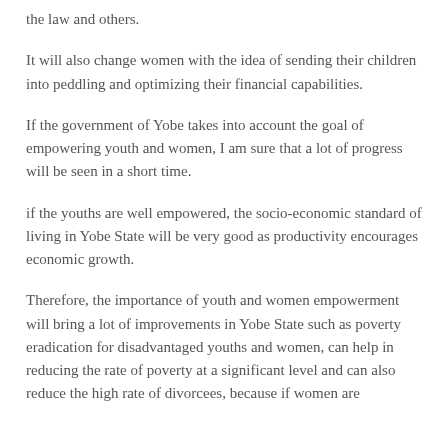the law and others.
It will also change women with the idea of sending their children into peddling and optimizing their financial capabilities.
If the government of Yobe takes into account the goal of empowering youth and women, I am sure that a lot of progress will be seen in a short time.
if the youths are well empowered, the socio-economic standard of living in Yobe State will be very good as productivity encourages economic growth.
Therefore, the importance of youth and women empowerment will bring a lot of improvements in Yobe State such as poverty eradication for disadvantaged youths and women, can help in reducing the rate of poverty at a significant level and can also reduce the high rate of divorcees, because if women are